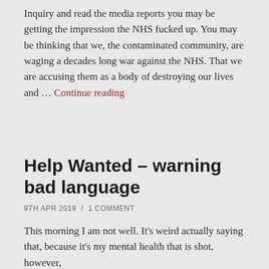Inquiry and read the media reports you may be getting the impression the NHS fucked up. You may be thinking that we, the contaminated community, are waging a decades long war against the NHS. That we are accusing them as a body of destroying our lives and … Continue reading
Help Wanted – warning bad language
9TH APR 2019  /  1 COMMENT
This morning I am not well. It's weird actually saying that, because it's my mental health that is shot, however,